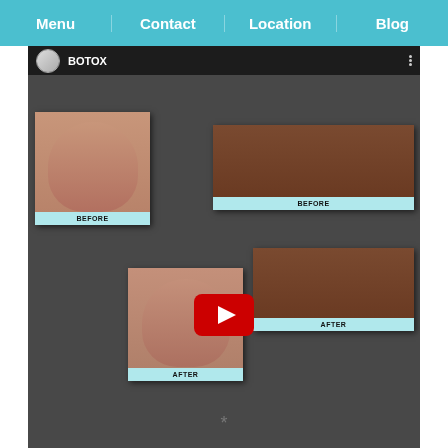Menu | Contact | Location | Blog
[Figure (screenshot): YouTube video thumbnail showing Botox before and after treatment photos. Top bar shows YouTube interface with avatar, 'BOTOX' title, and three-dot menu. Main content shows before/after face photos of a woman and before/after eye/brow photos of another person. Red YouTube play button in center. Botox Cosmetic logo (onabotulinumtoxin Type A) in lower left. 'Aesthetic' watermark in lower right. Black bottom bar.]
*